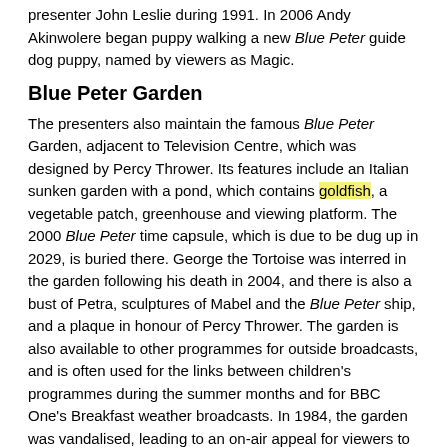presenter John Leslie during 1991. In 2006 Andy Akinwolere began puppy walking a new Blue Peter guide dog puppy, named by viewers as Magic.
Blue Peter Garden
The presenters also maintain the famous Blue Peter Garden, adjacent to Television Centre, which was designed by Percy Thrower. Its features include an Italian sunken garden with a pond, which contains goldfish, a vegetable patch, greenhouse and viewing platform. The 2000 Blue Peter time capsule, which is due to be dug up in 2029, is buried there. George the Tortoise was interred in the garden following his death in 2004, and there is also a bust of Petra, sculptures of Mabel and the Blue Peter ship, and a plaque in honour of Percy Thrower. The garden is also available to other programmes for outside broadcasts, and is often used for the links between children's programmes during the summer months and for BBC One's Breakfast weather broadcasts. In 1984, the garden was vandalised, leading to an on-air appeal for viewers to come forward with information — which now often appears on clip shows. A rumour circulated in the early 1990s that the vandalism had been carried out by a gang including the footballers Dennis Wise and Les Ferdinand when they were teenagers. Both men have denied direct involvement in the actual vandalism, although Ferdinand did later confess to "helping a few people over the wall."
Annual events